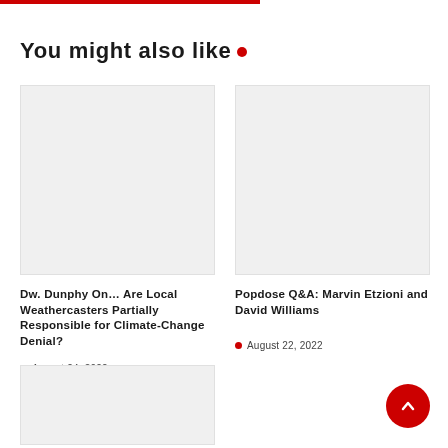You might also like •
[Figure (photo): Blank/empty image placeholder card on the left]
[Figure (photo): Blank/empty image placeholder card on the right]
Dw. Dunphy On… Are Local Weathercasters Partially Responsible for Climate-Change Denial?
August 24, 2022
Popdose Q&A: Marvin Etzioni and David Williams
August 22, 2022
[Figure (photo): Blank/empty image placeholder card bottom left]